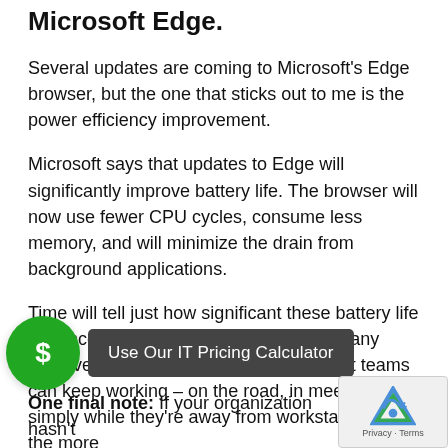Microsoft Edge.
Several updates are coming to Microsoft's Edge browser, but the one that sticks out to me is the power efficiency improvement.
Microsoft says that updates to Edge will significantly improve battery life. The browser will now use fewer CPU cycles, consume less memory, and will minimize the drain from background applications.
Time will tell just how significant these battery life enhancements are, but I look forward to any improvement in this area. The longer that teams can keep working – on the road, in meetings or simply while they're away from workstations – the more productive they will be.
One final note: If your organization hasn't